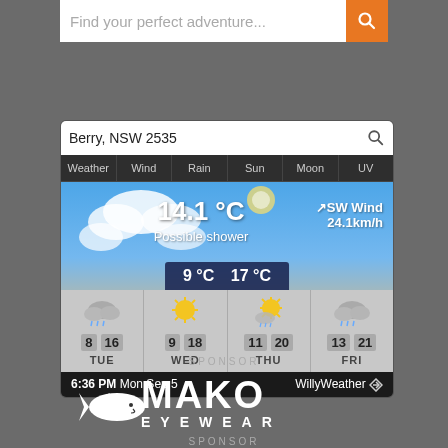Find your perfect adventure...
[Figure (screenshot): Weather widget for Berry, NSW 2535 showing current temperature 14.1°C, Possible shower, SW Wind 24.1km/h, min 9°C max 17°C. Forecast: TUE 8/16, WED 9/18, THU 11/20, FRI 13/21. Time: 6:36 PM Mon Sep 5. WillyWeather branding.]
SPONSOR
[Figure (logo): MAKO EYEWEAR logo in white on dark background with shark graphic]
SPONSOR